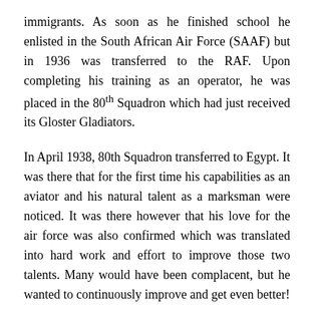immigrants. As soon as he finished school he enlisted in the South African Air Force (SAAF) but in 1936 was transferred to the RAF. Upon completing his training as an operator, he was placed in the 80th Squadron which had just received its Gloster Gladiators.
In April 1938, 80th Squadron transferred to Egypt. It was there that for the first time his capabilities as an aviator and his natural talent as a marksman were noticed. It was there however that his love for the air force was also confirmed which was translated into hard work and effort to improve those two talents. Many would have been complacent, but he wanted to continuously improve and get even better!
With the outbreak of the war, Pattle's Squadron was transferred to the borders of Libya, over which he first saw